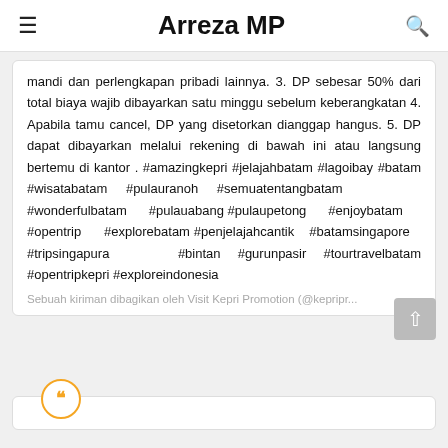Arreza MP
mandi dan perlengkapan pribadi lainnya. 3. DP sebesar 50% dari total biaya wajib dibayarkan satu minggu sebelum keberangkatan 4. Apabila tamu cancel, DP yang disetorkan dianggap hangus. 5. DP dapat dibayarkan melalui rekening di bawah ini atau langsung bertemu di kantor . #amazingkepri #jelajahbatam #lagoibay #batam #wisatabatam #pulauranoh #semuatentangbatam #wonderfulbatam #pulauabang #pulaupetong #enjoybatam #opentrip #explorebatam #penjelajahcantik #batamsingapore #tripsingapura #bintan #gurunpasir #tourtravelbatam #opentripkepri #exploreindonesia
Sebuah kiriman dibagikan oleh Visit Kepri Promotion (@kepripr...
[Figure (other): Quote badge icon — orange circle with quotation marks, beginning of a new card]